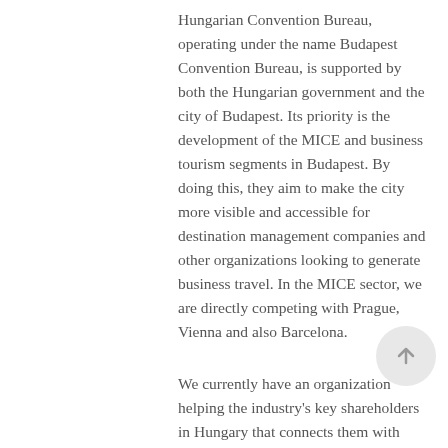Hungarian Convention Bureau, operating under the name Budapest Convention Bureau, is supported by both the Hungarian government and the city of Budapest. Its priority is the development of the MICE and business tourism segments in Budapest. By doing this, they aim to make the city more visible and accessible for destination management companies and other organizations looking to generate business travel. In the MICE sector, we are directly competing with Prague, Vienna and also Barcelona.
We currently have an organization helping the industry's key shareholders in Hungary that connects them with business partners outside Hungary. MICE and business tourism are two key areas that we strongly believe in, and which